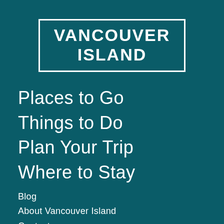VANCOUVER ISLAND
Places to Go
Things to Do
Plan Your Trip
Where to Stay
Blog
About Vancouver Island
Contact
Tourism Vancouver Island